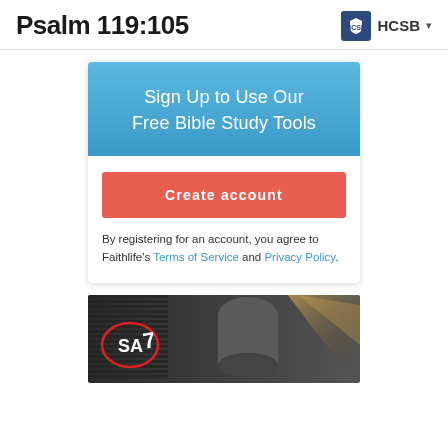Psalm 119:105  HCSB
Sign Up to Use Our Free Bible Study Tools
Create account
By registering for an account, you agree to Faithlife's Terms of Service and Privacy Policy.
[Figure (photo): Industrial / warehouse scene with SAT7 logo overlay in bottom portion of page]